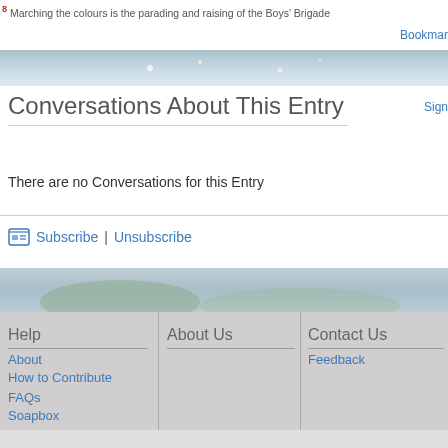8 Marching the colours is the parading and raising of the Boys' Brigade
Bookmark
[Figure (illustration): Blue sky decorative banner strip]
Conversations About This Entry
Sign
There are no Conversations for this Entry
Subscribe | Unsubscribe
[Figure (illustration): Landscape decorative banner strip]
Help
About
How to Contribute
FAQs
Soapbox
About Us
Contact Us
Feedback